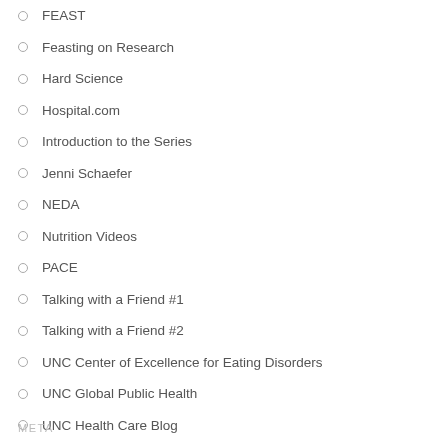FEAST
Feasting on Research
Hard Science
Hospital.com
Introduction to the Series
Jenni Schaefer
NEDA
Nutrition Videos
PACE
Talking with a Friend #1
Talking with a Friend #2
UNC Center of Excellence for Eating Disorders
UNC Global Public Health
UNC Health Care Blog
Understanding Family-Based Therapy
Why Choose the Program?
META